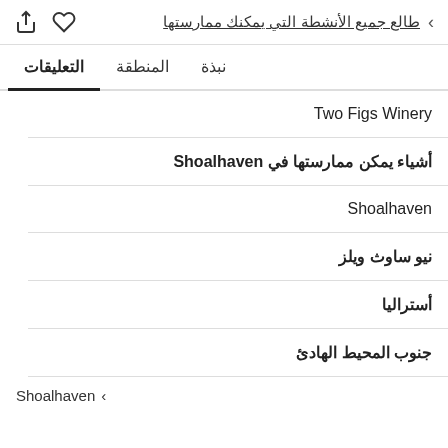طالع جميع الأنشطة التي يمكنك ممارستها
نبذة
المنطقة
التعليقات
Two Figs Winery
أشياء يمكن ممارستها في Shoalhaven
Shoalhaven
نيو ساوث ويلز
أستراليا
جنوب المحيط الهادئ
Shoalhaven